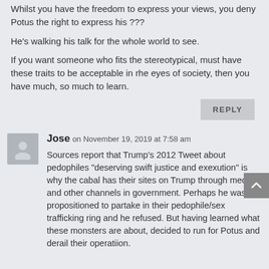Whilst you have the freedom to express your views, you deny Potus the right to express his ???
He's walking his talk for the whole world to see.
If you want someone who fits the stereotypical, must have these traits to be acceptable in rhe eyes of society, then you have much, so much to learn.
REPLY
Jose on November 19, 2019 at 7:58 am
Sources report that Trump’s 2012 Tweet about pedophiles “deserving swift justice and exexution” is why the cabal has their sites on Trump through media and other channels in government. Perhaps he was propositioned to partake in their pedophile/sex trafficking ring and he refused. But having learned what these monsters are about, decided to run for Potus and derail their operatiion.